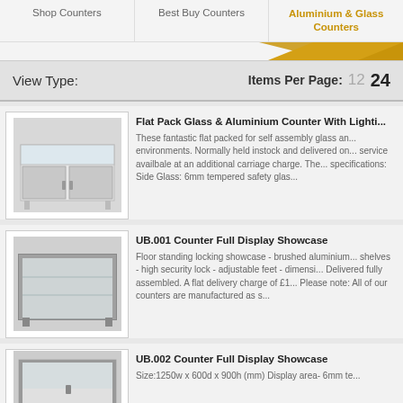Shop Counters | Best Buy Counters | Aluminium & Glass Counters
View Type:   Items Per Page:  12  24
[Figure (photo): Flat pack glass and aluminium counter with lighting - white/silver display counter with sliding glass doors]
Flat Pack Glass & Aluminium Counter With Lighti...
These fantastic flat packed for self assembly glass an... environments. Normally held instock and delivered on... service availbale at an additional carriage charge. The... specifications: Side Glass: 6mm tempered safety glas...
[Figure (photo): UB.001 Counter Full Display Showcase - brushed aluminium floor standing glass showcase]
UB.001 Counter Full Display Showcase
Floor standing locking showcase - brushed aluminium... shelves - high security lock - adjustable feet - dimensi... Delivered fully assembled. A flat delivery charge of £1... Please note: All of our counters are manufactured as s...
[Figure (photo): UB.002 Counter Full Display Showcase - aluminium framed glass counter showcase]
UB.002 Counter Full Display Showcase
Size:1250w x 600d x 900h (mm) Display area- 6mm te...